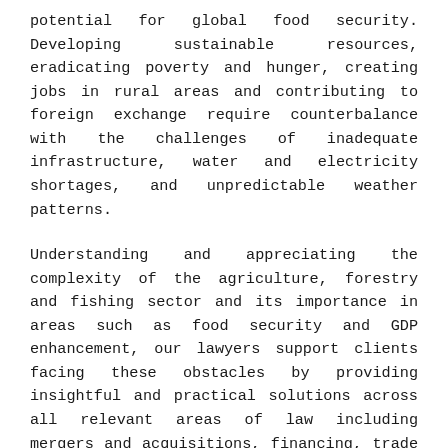potential for global food security. Developing sustainable resources, eradicating poverty and hunger, creating jobs in rural areas and contributing to foreign exchange require counterbalance with the challenges of inadequate infrastructure, water and electricity shortages, and unpredictable weather patterns.
Understanding and appreciating the complexity of the agriculture, forestry and fishing sector and its importance in areas such as food security and GDP enhancement, our lawyers support clients facing these obstacles by providing insightful and practical solutions across all relevant areas of law including mergers and acquisitions, financing, trade arrangements, joint ventures and intellectual property.
Our expertise span across all African jurisdictions.